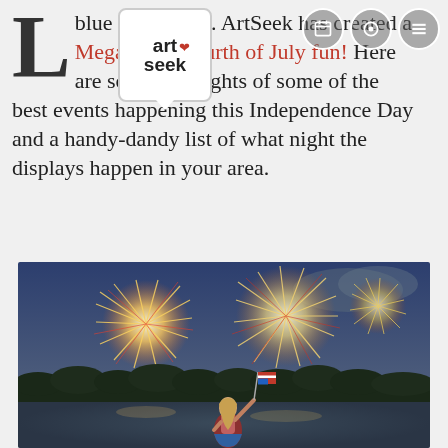[Figure (logo): ArtSeek logo — white rounded rectangle with 'art' and 'seek' text and a red heart icon, with a downward pointing triangle at the bottom]
blue are in luck. ArtSeek has created a Megalist of Fourth of July fun! Here are some highlights of some of the best events happening this Independence Day and a handy-dandy list of what night the displays happen in your area.
[Figure (photo): Nighttime fireworks display over a lake with a young girl in a patriotic dress waving an American flag in the foreground, trees silhouetted against a dusky sky in the background]